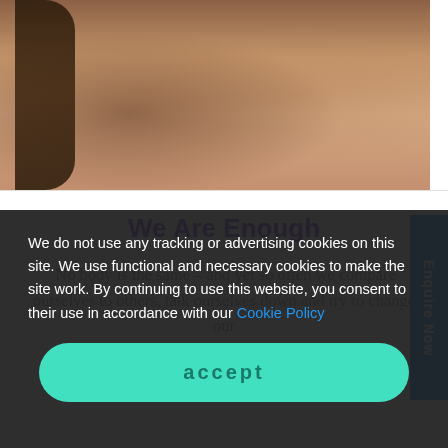[Figure (photo): Close-up photo of multiple people showing bare shoulders and torsos, with braided hair visible on the left side. The image is cropped to show upper bodies in a warm skin-tone palette.]
We Are Enough
'No body is the same – and yet so often we compare ourselves to others, talk ourselves down and try to change our
We do not use any tracking or advertising cookies on this site. We use functional and necessary cookies to make the site work. By continuing to use this website, you consent to their use in accordance with our Cookie Policy
accept